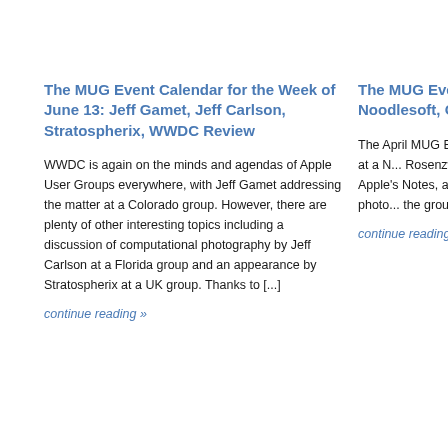The MUG Event Calendar for the Week of June 13: Jeff Gamet, Jeff Carlson, Stratospherix, WWDC Review
WWDC is again on the minds and agendas of Apple User Groups everywhere, with Jeff Gamet addressing the matter at a Colorado group. However, there are plenty of other interesting topics including a discussion of computational photography by Jeff Carlson at a Florida group and an appearance by Stratospherix at a UK group. Thanks to [...]
continue reading »
The MUG Eve... Week of April ... Noodlesoft, G... Notes
The April MUG Ev... with appearances ... Noodlesoft at a N... Rosenzweig at a T... Washington D.C. ... Apple's Notes, an... benefit from a pre... professional photo... the groups who re...
continue reading ...